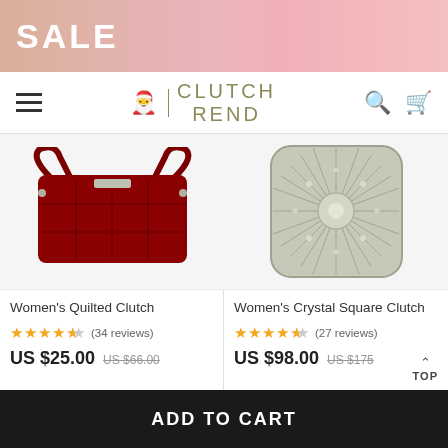[Figure (photo): Pink sale banner with woman holding a clutch bag]
CLUTCH TREND - navigation bar with hamburger menu, logo, search and cart icons
[Figure (photo): Red quilted crossbody clutch bag]
Women's Quilted Clutch
4.5 stars (34 reviews)
US $25.00  US $66.00
[Figure (photo): Silver crystal square clutch bag]
Women's Crystal Square Clutch
4.5 stars (27 reviews)
US $98.00  US $175
ADD TO CART